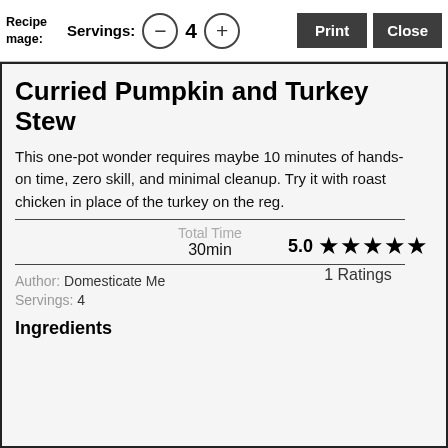Recipe image:   Servings: — 4 +   Print   Close
Curried Pumpkin and Turkey Stew
This one-pot wonder requires maybe 10 minutes of hands-on time, zero skill, and minimal cleanup. Try it with roast chicken in place of the turkey on the reg.
Total Time
30min
5.0 ★★★★★
1 Ratings
Author: Domesticate Me
Servings: 4
Ingredients